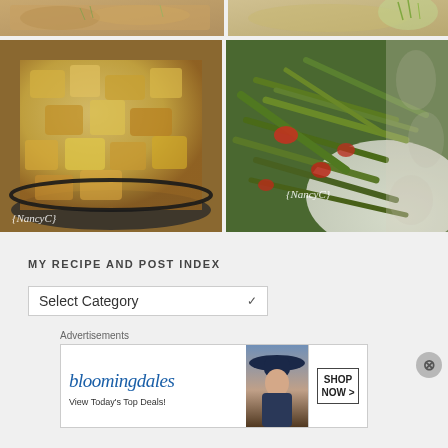[Figure (photo): Top-left food photo: baked/breaded dish with herbs on top, partially visible]
[Figure (photo): Top-right food photo: baked/breaded dish with green herb garnish, partially visible]
[Figure (photo): Bottom-left food photo: roasted diced potatoes in a dark skillet with {NancyC} watermark]
[Figure (photo): Bottom-right food photo: cooked green beans with tomatoes on a white plate with {NancyC} watermark]
MY RECIPE AND POST INDEX
[Figure (screenshot): Select Category dropdown widget]
Advertisements
[Figure (infographic): Bloomingdales advertisement: bloomingdales logo, woman with hat, SHOP NOW > button, View Today's Top Deals!]